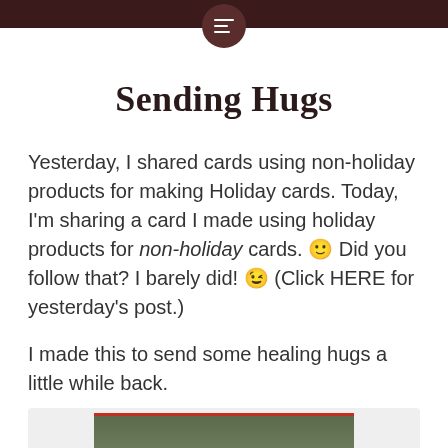Sending Hugs
Yesterday, I shared cards using non-holiday products for making Holiday cards. Today, I'm sharing a card I made using holiday products for non-holiday cards. 🙂 Did you follow that? I barely did! 😉 (Click HERE for yesterday's post.)
I made this to send some healing hugs a little while back.
[Figure (photo): Bottom portion of a crafted card visible, showing a dark olive/green pattern with a red border strip]